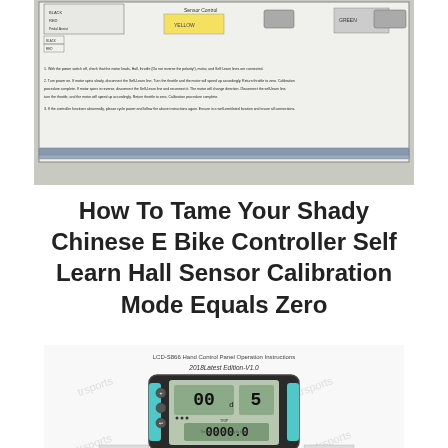[Figure (photo): Photo of a whiteboard/instruction sheet showing wiring diagram with colored wires (BLACK, YELLOW) and a Pedal Assist label, with numbered instructions for self-learn hall sensor calibration procedures for an e-bike controller.]
How To Tame Your Shady Chinese E Bike Controller Self Learn Hall Sensor Calibration Mode Equals Zero
[Figure (photo): Photo of LCD-S866 Hand Control Panel Operation Instructions document showing 2018 Latest Edition-V1.0, with image of LCD display panel showing speed and other metrics, watermarked with 'trsports', and partial view of another LCD panel at bottom.]